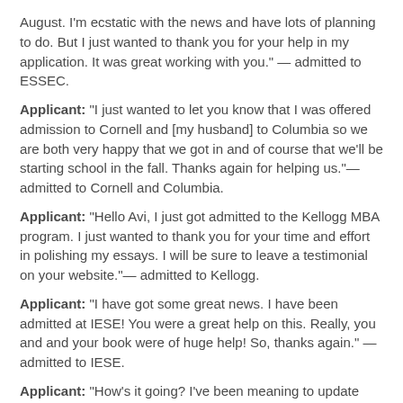August. I'm ecstatic with the news and have lots of planning to do. But I just wanted to thank you for your help in my application. It was great working with you." — admitted to ESSEC.
Applicant: "I just wanted to let you know that I was offered admission to Cornell and [my husband] to Columbia so we are both very happy that we got in and of course that we'll be starting school in the fall. Thanks again for helping us."— admitted to Cornell and Columbia.
Applicant: "Hello Avi, I just got admitted to the Kellogg MBA program. I just wanted to thank you for your time and effort in polishing my essays. I will be sure to leave a testimonial on your website."— admitted to Kellogg.
Applicant: "I have got some great news. I have been admitted at IESE! You were a great help on this. Really, you and and your book were of huge help! So, thanks again." — admitted to IESE.
Applicant: "How's it going? I've been meaning to update you on my application. I was accepted without an interview for the January term at Columbia. I am now finishing most of my medical requirements and will begin the business school in January. Thanks for helping me with the essays. They must have been big b/c I was accepted about 3 weeks after submitting." — admitted to Columbia.